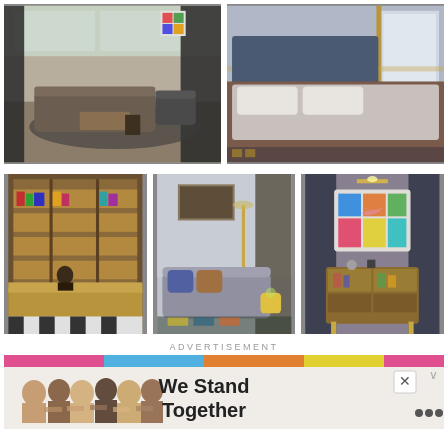[Figure (photo): Hotel lounge/lobby area with tufted leather sofa, patterned armchairs, black and white geometric rug, coffee table, and large windows with dark curtains]
[Figure (photo): Hotel bedroom with large bed covered in gray linen, upholstered headboard, natural light from windows, geometric patterned rug]
[Figure (photo): Hotel reception area with backlit wooden shelving displaying books and objects, checkered floor, reception desk with person behind it]
[Figure (photo): Hotel suite sitting area with gray sofa, patterned cushions, framed artwork, floor lamp, and colorful geometric rug]
[Figure (photo): Hotel room corner with decorative cabinet displaying colorful abstract artwork and sculptures]
ADVERTISEMENT
[Figure (photo): Advertisement banner showing group of people with arms around each other and text 'We Stand Together']